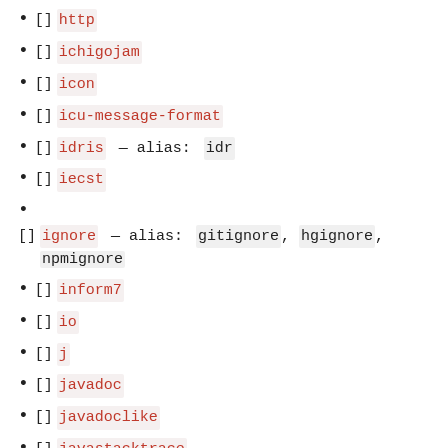[] http
[] ichigojam
[] icon
[] icu-message-format
[] idris — alias: idr
[] iecst
[] ignore — alias: gitignore, hgignore, npmignore
[] inform7
[] io
[] j
[] javadoc
[] javadoclike
[] javastacktrace
[] jexl